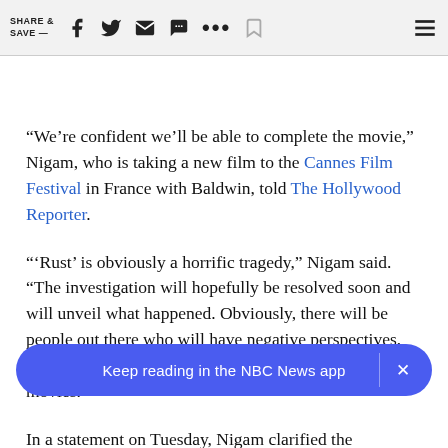SHARE & SAVE —
“We’re confident we’ll be able to complete the movie,” Nigam, who is taking a new film to the Cannes Film Festival in France with Baldwin, told The Hollywood Reporter.
“‘Rust’ is obviously a horrific tragedy,” Nigam said. “The investigation will hopefully be resolved soon and will unveil what happened. Obviously, there will be people out there who will have negative perspectives, but we’re confident about continuing to make quality movies.”
In a statement on Tuesday, Nigam clarified the
Keep reading in the NBC News app